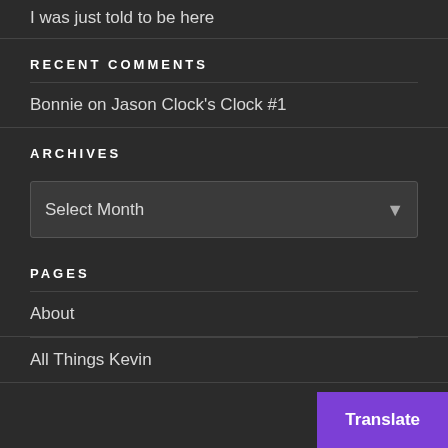I was just told to be here
RECENT COMMENTS
Bonnie on Jason Clock's Clock #1
ARCHIVES
Select Month
PAGES
About
All Things Kevin
Translate